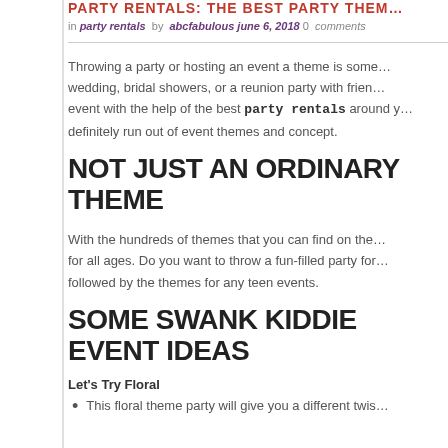PARTY RENTALS: THE BEST PARTY THEM…
in party rentals  by  abcfabulous june 6, 2018 0  comments
Throwing a party or hosting an event a theme is some… wedding, bridal showers, or a reunion party with frien… event with the help of the best party rentals around y… definitely run out of event themes and concept.
NOT JUST AN ORDINARY THEME
With the hundreds of themes that you can find on the… for all ages. Do you want to throw a fun-filled party for… followed by the themes for any teen events.
SOME SWANK KIDDIE EVENT IDEAS
Let's Try Floral
This floral theme party will give you a different twis…